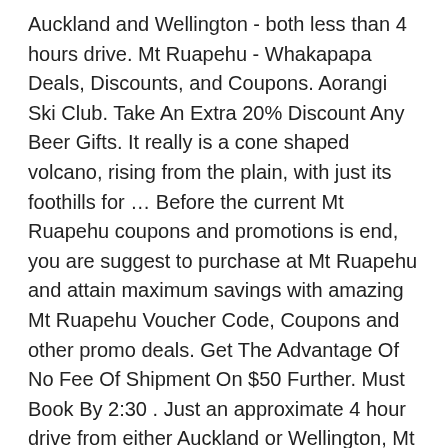Auckland and Wellington - both less than 4 hours drive. Mt Ruapehu - Whakapapa Deals, Discounts, and Coupons. Aorangi Ski Club. Take An Extra 20% Discount Any Beer Gifts. It really is a cone shaped volcano, rising from the plain, with just its foothills for … Before the current Mt Ruapehu coupons and promotions is end, you are suggest to purchase at Mt Ruapehu and attain maximum savings with amazing Mt Ruapehu Voucher Code, Coupons and other promo deals. Get The Advantage Of No Fee Of Shipment On $50 Further. Must Book By 2:30 . Just an approximate 4 hour drive from either Auckland or Wellington, Mt Ruapehu is your premier North Island Ski Resort. Hannah died after a Ruapehu Alpine Lifts bus overturned on Mt Ruapehu on July 28, 2018. Mt Ruapehu, which forms part of the incredible Tongariro National Park is New Zealand's largest ski resort. …